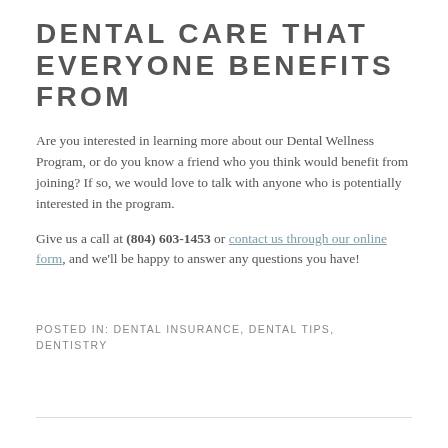DENTAL CARE THAT EVERYONE BENEFITS FROM
Are you interested in learning more about our Dental Wellness Program, or do you know a friend who you think would benefit from joining? If so, we would love to talk with anyone who is potentially interested in the program.
Give us a call at (804) 603-1453 or contact us through our online form, and we’ll be happy to answer any questions you have!
POSTED IN: DENTAL INSURANCE, DENTAL TIPS, DENTISTRY